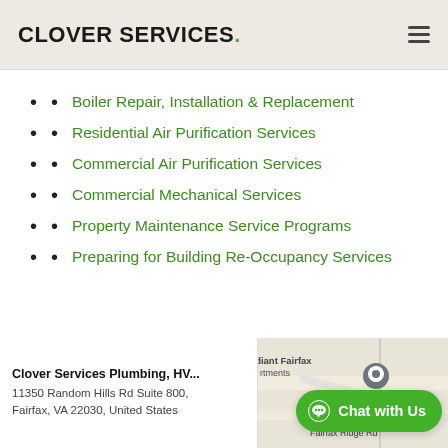Clover Services.
Boiler Repair, Installation & Replacement
Residential Air Purification Services
Commercial Air Purification Services
Commercial Mechanical Services
Property Maintenance Service Programs
Preparing for Building Re-Occupancy Services
[Figure (map): Street map showing Clover Services Plumbing location at 11350 Random Hills Rd Suite 800, Fairfax, VA 22030, United States with a location pin and nearby street labels including Radiant Fairfax and Fairfax Ridge Rd]
Clover Services Plumbing, HV...
11350 Random Hills Rd Suite 800,
Fairfax, VA 22030, United States